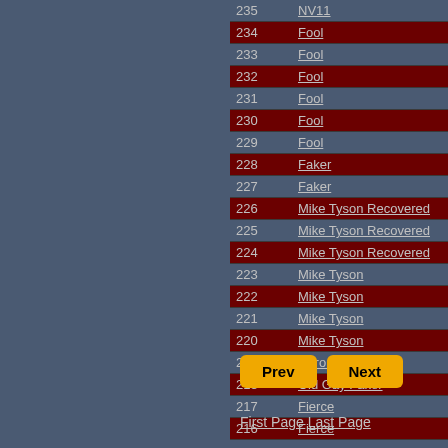| # | Name | Result | Year |
| --- | --- | --- | --- |
| 235 | NV11 | TKO9 | 2021- |
| 234 | Fool | TKOby1 | 2021- |
| 233 | Fool | KOby1 | 2021- |
| 232 | Fool | TKO1 | 2021- |
| 231 | Fool | TKO1 | 2021- |
| 230 | Fool | KO1 | 2021- |
| 229 | Fool | TKO1 | 2021- |
| 228 | Faker | KOby1 | 2020- |
| 227 | Faker | KOby1 | 2020- |
| 226 | Mike Tyson Recovered | KOby10 | 2020- |
| 225 | Mike Tyson Recovered | TKOby7 | 2020- |
| 224 | Mike Tyson Recovered | KOby2 | 2020- |
| 223 | Mike Tyson | KO1 | 2020- |
| 222 | Mike Tyson | TKOby1 | 2020- |
| 221 | Mike Tyson | KO1 | 2020- |
| 220 | Mike Tyson | TKOby7 | 2020- |
| 219 | Corona-19 | KO4 | 2020- |
| 218 | Old Gay Faker | W6 | 2020- |
| 217 | Fierce | TKOby6 | 2013- |
| 216 | Fierce | KOby2 | 2013- |
Prev  Next
First Page  Last Page